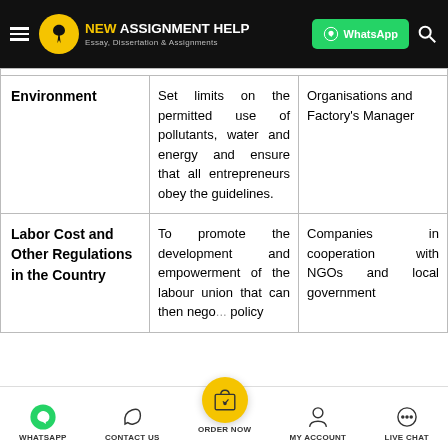NEW ASSIGNMENT HELP - Essay, Dissertation & Assignments | WhatsApp
|  |  |  |
| --- | --- | --- |
| Environment | Set limits on the permitted use of pollutants, water and energy and ensure that all entrepreneurs obey the guidelines. | Organisations and Factory's Manager |
| Labor Cost and Other Regulations in the Country | To promote the development and empowerment of the labour union that can then nego... policy | Companies in cooperation with NGOs and local government |
WHATSAPP | CONTACT US | ORDER NOW | MY ACCOUNT | LIVE CHAT